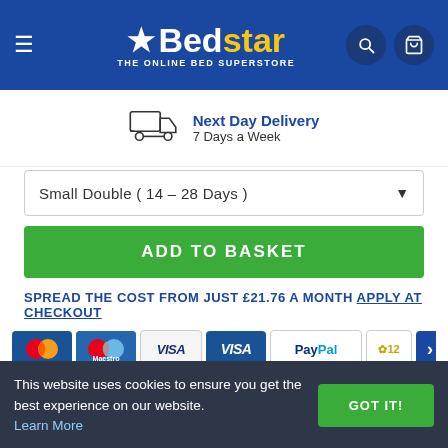[Figure (logo): Bedstar - The Online Bed Superstore logo on blue header with hamburger menu, search icon, and cart icon]
[Figure (illustration): Delivery truck icon with text: Next Day Delivery, 7 Days a Week]
Small Double ( 14 – 28 Days )
ADD TO BASKET
SPREAD THE COST FROM JUST £21.76 A MONTH APPLY AT CHECKOUT
[Figure (illustration): Payment method icons: Mastercard, Maestro, Visa Debit, Visa, PayPal, and more]
This website uses cookies to ensure you get the best experience on our website. Learn More